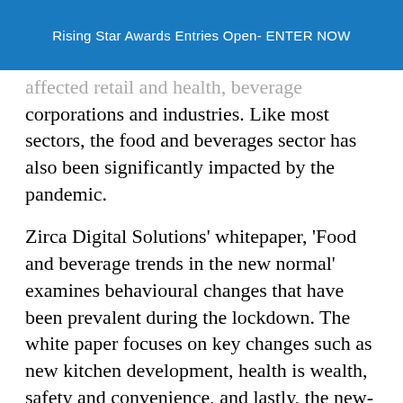Rising Star Awards Entries Open- ENTER NOW
…affected retail and health, beverage corporations and industries. Like most sectors, the food and beverages sector has also been significantly impacted by the pandemic.
Zirca Digital Solutions' whitepaper, 'Food and beverage trends in the new normal' examines behavioural changes that have been prevalent during the lockdown. The white paper focuses on key changes such as new kitchen development, health is wealth, safety and convenience, and lastly, the new-age influencers.
Some highlights from the white paper: